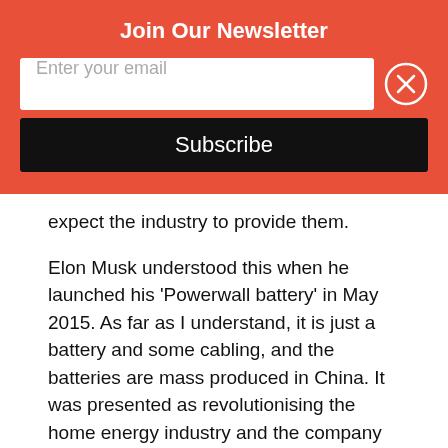Join Our Newsletter
[Figure (other): Email newsletter signup widget with text input field, close button, and Subscribe button on orange/red background]
expect the industry to provide them.
Elon Musk understood this when he launched his ‘Powerwall battery’ in May 2015. As far as I understand, it is just a battery and some cabling, and the batteries are mass produced in China. It was presented as revolutionising the home energy industry and the company took a year’s advance orders for it.
So there may be an argument that this is old technology dressed up as something new, to meet technology enthusiasts endless hunger for something which will change the world.